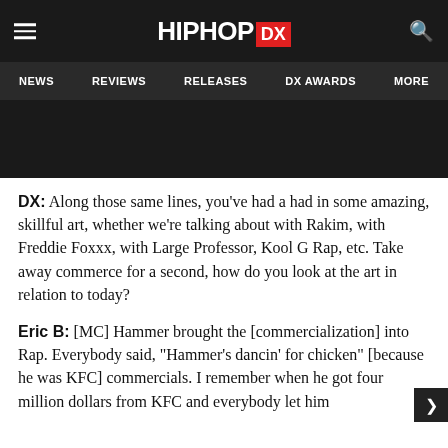HIPHOP DX
NEWS  REVIEWS  RELEASES  DX AWARDS  MORE
DX: Along those same lines, you've had a had in some amazing, skillful art, whether we're talking about with Rakim, with Freddie Foxxx, with Large Professor, Kool G Rap, etc. Take away commerce for a second, how do you look at the art in relation to today?
Eric B: [MC] Hammer brought the [commercialization] into Rap. Everybody said, "Hammer's dancin' for chicken" [because he was KFC] commercials. I remember when he got four million dollars from KFC and everybody let him